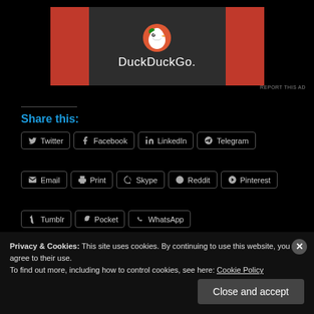[Figure (screenshot): DuckDuckGo advertisement banner with orange side panels and dark center panel showing DuckDuckGo logo and text]
REPORT THIS AD
Share this:
Twitter
Facebook
LinkedIn
Telegram
Email
Print
Skype
Reddit
Pinterest
Tumblr
Pocket
WhatsApp
Like
Privacy & Cookies: This site uses cookies. By continuing to use this website, you agree to their use.
To find out more, including how to control cookies, see here: Cookie Policy
Close and accept